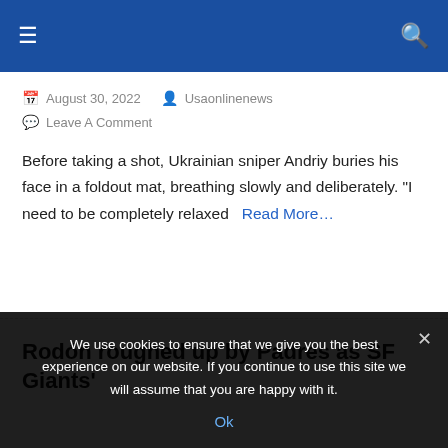≡  🔍
August 30, 2022   Usaonlinenews
Leave A Comment
Before taking a shot, Ukrainian sniper Andriy buries his face in a foldout mat, breathing slowly and deliberately. "I need to be completely relaxed   Read More…
Rodón roughed up by Padres as SF Giants'
We use cookies to ensure that we give you the best experience on our website. If you continue to use this site we will assume that you are happy with it.
Ok